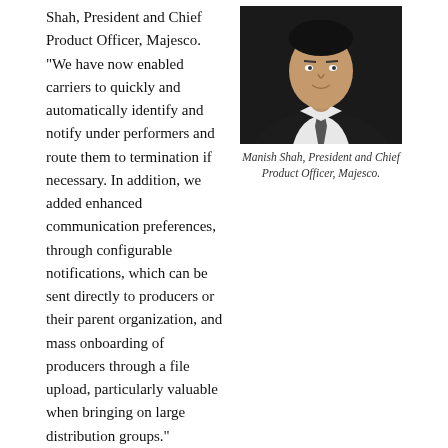Shah, President and Chief Product Officer, Majesco. "We have now enabled carriers to quickly and automatically identify and notify under performers and route them to termination if necessary. In addition, we added enhanced communication preferences, through configurable notifications, which can be sent directly to producers or their parent organization, and mass onboarding of producers through a file upload, particularly valuable when bringing on large distribution groups."
[Figure (photo): Professional headshot of Manish Shah, a man in a dark suit with white shirt and tie, against a dark background.]
Manish Shah, President and Chief Product Officer, Majesco.
Majesco says this latest release highlights continued strategic investment in distribution management by expanding innovative, new digital, distribution and data capabilities to speed distribution on-boarding and optimize the distribution operation to drive profitable growth.  Some of the key new capabilities are as follows, as described by the vendor:
Distributor Performance: Enables carriers to configure rules that automate identification of under performers and